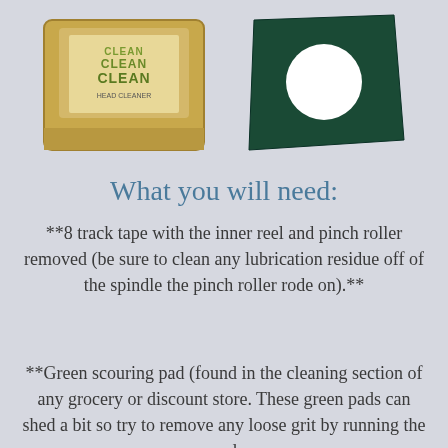[Figure (photo): Two product images side by side: left shows a gold-colored 8-track head cleaner cassette with green 'CLEAN CLEAN CLEAN' text label, right shows a dark green scouring pad with a white circular cutout]
What you will need:
**8 track tape with the inner reel and pinch roller removed (be sure to clean any lubrication residue off of the spindle the pinch roller rode on).**
**Green scouring pad (found in the cleaning section of any grocery or discount store. These green pads can shed a bit so try to remove any loose grit by running the pad